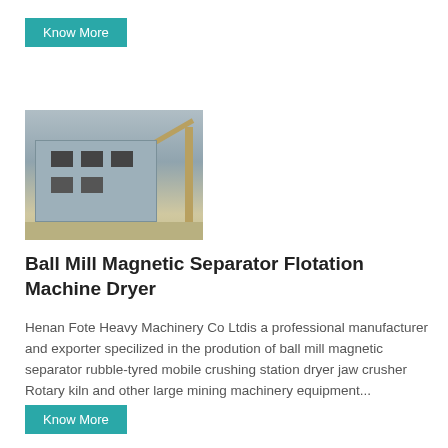Know More
[Figure (photo): Construction site photo showing a concrete building under construction with a crane in the background]
Ball Mill Magnetic Separator Flotation Machine Dryer
Henan Fote Heavy Machinery Co Ltdis a professional manufacturer and exporter specilized in the prodution of ball mill magnetic separator rubble-tyred mobile crushing station dryer jaw crusher Rotary kiln and other large mining machinery equipment...
Know More